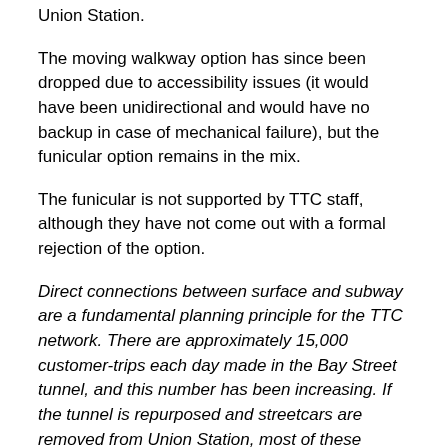Union Station.
The moving walkway option has since been dropped due to accessibility issues (it would have been unidirectional and would have no backup in case of mechanical failure), but the funicular option remains in the mix.
The funicular is not supported by TTC staff, although they have not come out with a formal rejection of the option.
Direct connections between surface and subway are a fundamental planning principle for the TTC network. There are approximately 15,000 customer-trips each day made in the Bay Street tunnel, and this number has been increasing. If the tunnel is repurposed and streetcars are removed from Union Station, most of these customers would have to alight from the streetcar and transfer to the funicular for the last part of their journey, which is about